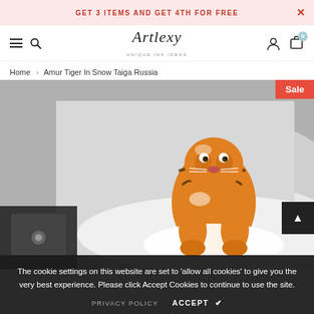GET 3 ITEMS AND GET 4TH FOR FREE
[Figure (logo): Artlexy logo in italic script with tagline underneath]
Home > Amur Tiger In Snow Taiga Russia
[Figure (photo): Amur tiger running through snow in taiga Russia, frontal view, orange and black striped tiger against white snowy background. Sale badge in top-right corner.]
The cookie settings on this website are set to 'allow all cookies' to give you the very best experience. Please click Accept Cookies to continue to use the site.
PRIVACY POLICY   ACCEPT ✔